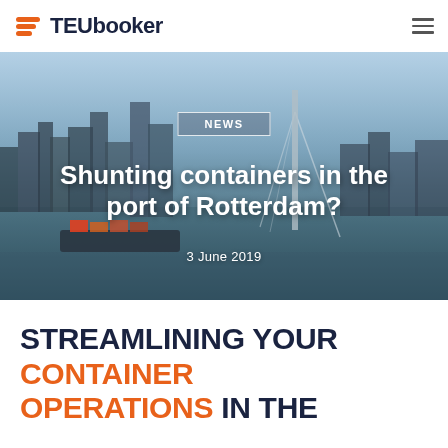TEUbooker
[Figure (photo): Aerial photograph of the port of Rotterdam showing the city skyline, waterway with a container barge, bridges including the Erasmus Bridge, and waterfront buildings under a partly cloudy sky.]
NEWS
Shunting containers in the port of Rotterdam?
3 June 2019
STREAMLINING YOUR CONTAINER OPERATIONS IN THE